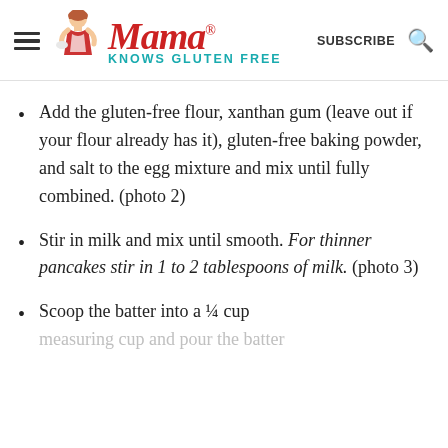Mama® Knows Gluten Free — SUBSCRIBE
Add the gluten-free flour, xanthan gum (leave out if your flour already has it), gluten-free baking powder, and salt to the egg mixture and mix until fully combined. (photo 2)
Stir in milk and mix until smooth. For thinner pancakes stir in 1 to 2 tablespoons of milk. (photo 3)
Scoop the batter into a ¼ cup measuring cup and pour the batter